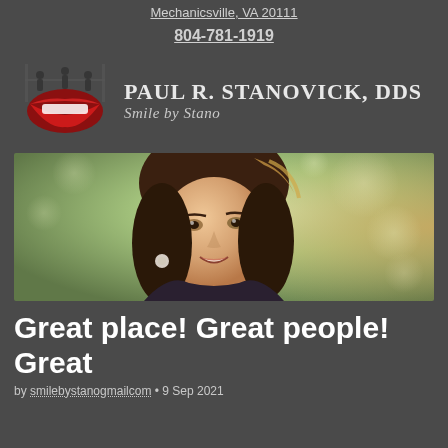Mechanicsville, VA 20111
804-781-1919
[Figure (logo): Paul R. Stanovick DDS – Smile by Stano dental practice logo with red lips/smile graphic and silhouettes of people]
[Figure (photo): Banner photo of a smiling young woman with dark hair in an outdoor setting with blurred green and warm bokeh background]
Great place! Great people! Great
by smilebystanogmailcom • 9 Sep 2021